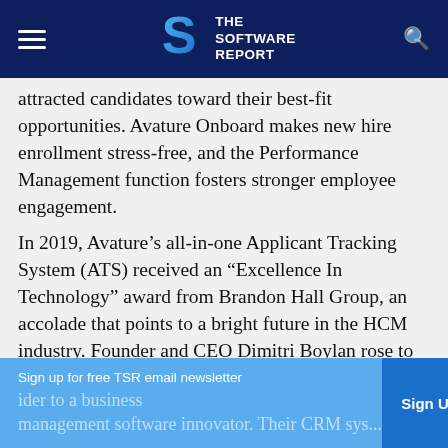THE SOFTWARE REPORT
attracted candidates toward their best-fit opportunities. Avature Onboard makes new hire enrollment stress-free, and the Performance Management function fosters stronger employee engagement.
In 2019, Avature’s all-in-one Applicant Tracking System (ATS) received an “Excellence In Technology” award from Brandon Hall Group, an accolade that points to a bright future in the HCM industry. Founder and CEO Dimitri Boylan rose to fame as the head of online job search innovator HotJobs.com, a forerunner of modern employee recruitment engines. Over the last fifteen years, Boylan’s company has evolved from a
Sign up for free TSR email newsletter